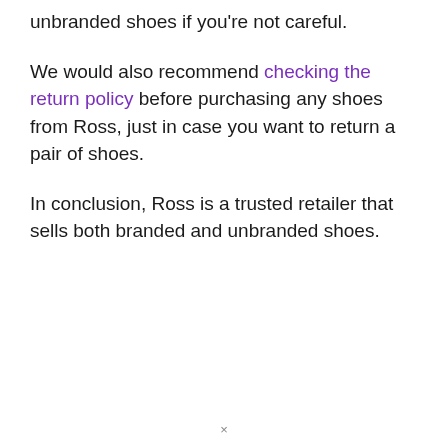unbranded shoes if you're not careful.
We would also recommend checking the return policy before purchasing any shoes from Ross, just in case you want to return a pair of shoes.
In conclusion, Ross is a trusted retailer that sells both branded and unbranded shoes.